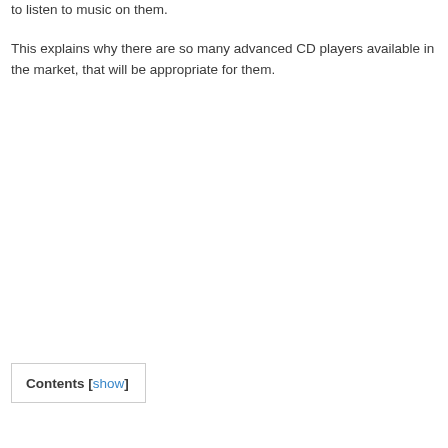to listen to music on them.
This explains why there are so many advanced CD players available in the market, that will be appropriate for them.
Contents [show]